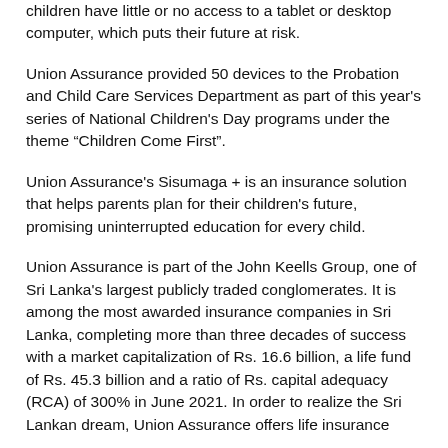children have little or no access to a tablet or desktop computer, which puts their future at risk.
Union Assurance provided 50 devices to the Probation and Child Care Services Department as part of this year's series of National Children's Day programs under the theme “Children Come First”.
Union Assurance's Sisumaga + is an insurance solution that helps parents plan for their children's future, promising uninterrupted education for every child.
Union Assurance is part of the John Keells Group, one of Sri Lanka's largest publicly traded conglomerates. It is among the most awarded insurance companies in Sri Lanka, completing more than three decades of success with a market capitalization of Rs. 16.6 billion, a life fund of Rs. 45.3 billion and a ratio of Rs. capital adequacy (RCA) of 300% in June 2021. In order to realize the Sri Lankan dream, Union Assurance offers life insurance